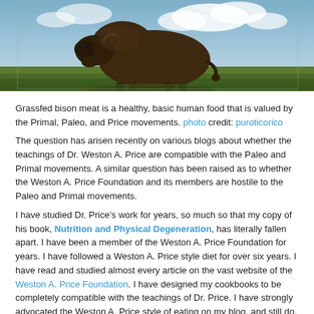[Figure (photo): A large bison standing on grassy terrain with a cloudy sky in the background.]
Grassfed bison meat is a healthy, basic human food that is valued by the Primal, Paleo, and Price movements. photo credit: puroticorico
The question has arisen recently on various blogs about whether the teachings of Dr. Weston A. Price are compatible with the Paleo and Primal movements. A similar question has been raised as to whether the Weston A. Price Foundation and its members are hostile to the Paleo and Primal movements.
I have studied Dr. Price’s work for years, so much so that my copy of his book, Nutrition and Physical Degeneration, has literally fallen apart. I have been a member of the Weston A. Price Foundation for years. I have followed a Weston A. Price style diet for over six years. I have read and studied almost every article on the vast website of the Weston A. Price Foundation. I have designed my cookbooks to be completely compatible with the teachings of Dr. Price. I have strongly advocated the Weston A. Price style of eating on my blog, and still do.
Though I am a member, I do not speak for the Weston A. Price...